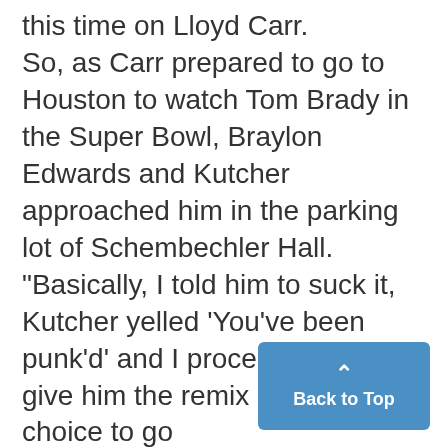this time on Lloyd Carr. So, as Carr prepared to go to Houston to watch Tom Brady in the Super Bowl, Braylon Edwards and Kutcher approached him in the parking lot of Schembechler Hall. "Basically, I told him to suck it, Kutcher yelled 'You've been punk'd' and I proceeded to give him the remix edition of my choice to go pro," Edwards said. "I mean, it makes sense on so many levels. A Michigan play